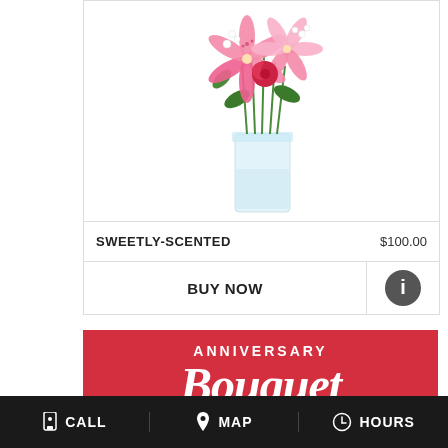[Figure (photo): Flower bouquet in a clear glass vase featuring pink stargazer lilies, red roses, and white flowers with green stems, photographed against a white background]
SWEETLY-SCENTED    $100.00
BUY NOW
[Figure (illustration): Info icon - dark circular button with white letter i]
[Figure (illustration): Anniversary banner with red background, white text reading ANNIVERSARY with cursive script below]
CALL   MAP   HOURS